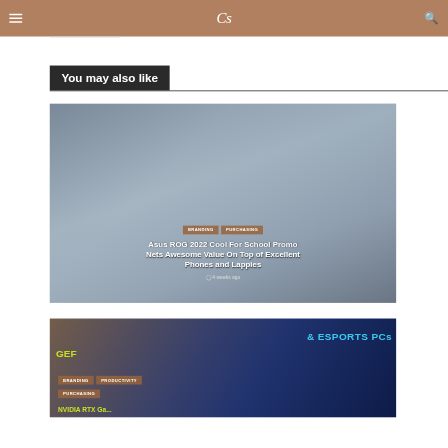CS logo / menu / search
You may also like
[Figure (photo): Asus ROG 2022 Cool For School promo image showing various laptops, tablets, and phones with price tags. Tags: BRANDING, PURCHASING. Title: Asus ROG 2022 Cool For School Promo Nets Awesome Value On Top of Excellent Phones and Lappies. Time: 4 weeks ago]
[Figure (photo): Gaming PC promo image with dark background showing GeForce and Esports PCs. Tags: BRANDING, PRODUCTIVITY, PURCHASING. Partial title visible: NVIDIA RTX Ga...]